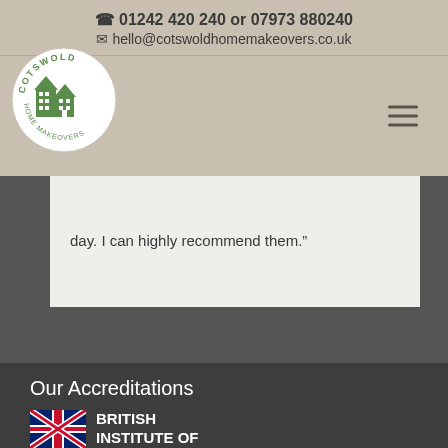01242 420 240 or 07973 880240
hello@cotswoldhomemakeovers.co.uk
[Figure (logo): Cotswold Home Makeovers circular logo with green house illustration and text around the border]
day. I can highly recommend them.”
Our Accreditations
[Figure (logo): British Institute of Interior Design logo with UK flag and bold text BRITISH INSTITUTE OF]